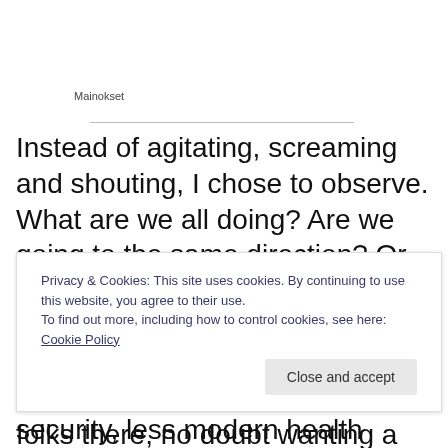Mainokset
Instead of agitating, screaming and shouting, I chose to observe. What are we all doing? Are we going to the same direction? Or are these events just shouting matches on who is the loudest to bring out their angle? One one hand, we had some labour union folks there, no doubt wanting a just transition and good union jobs also in the future we
Privacy & Cookies: This site uses cookies. By continuing to use this website, you agree to their use.
To find out more, including how to control cookies, see here: Cookie Policy
less education, less social security, less modern health